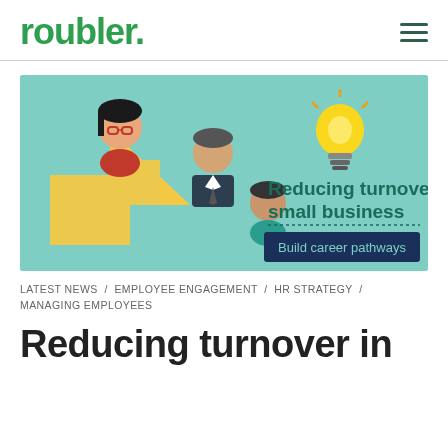roubler.
[Figure (illustration): Infographic banner with teal background showing three illustrated people figures and a large yellow arrow pointing up-right. Right side shows a lit lightbulb icon, text 'Reducing turnover in small business' in teal, and a dark navy button reading 'Build career pathways'.]
LATEST NEWS / EMPLOYEE ENGAGEMENT / HR STRATEGY / MANAGING EMPLOYEES
Reducing turnover in